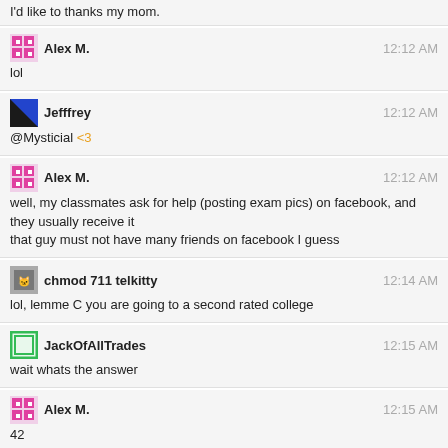I'd like to thanks my mom.
Alex M. 12:12 AM
lol
Jefffrey 12:12 AM
@Mysticial <3
Alex M. 12:12 AM
well, my classmates ask for help (posting exam pics) on facebook, and they usually receive it
that guy must not have many friends on facebook I guess
chmod 711 telkitty 12:14 AM
lol, lemme C you are going to a second rated college
JackOfAllTrades 12:15 AM
wait whats the answer
Alex M. 12:15 AM
42
the comment says it clearly
user1646075 12:15 AM
@JackOfAllTrades Then you'd better give up now, before you try.
JackOfAllTrades 12:16 AM
i didn't read the comment i just kinda stared at the picture